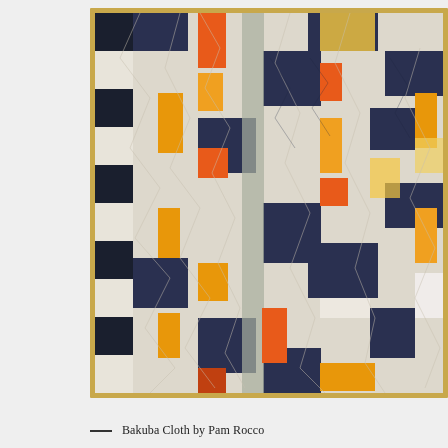[Figure (photo): A photograph of a quilt artwork titled 'Bakuba Cloth' by Pam Rocco. The quilt features an abstract geometric design with rectangular and irregular shapes in navy blue, orange, red, yellow/amber, sage green/gray, and white against a light background. The quilt is mounted in a thin wooden frame. The quilting stitches create angular, free-form lines across the surface.]
— Bakuba Cloth by Pam Rocco